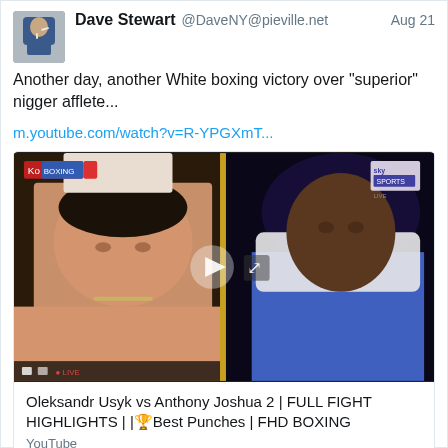Dave Stewart @DaveNY@pieville.net Aug 21
Another day, another White boxing victory over "superior" nigger afflete...
m.youtube.com/watch?v=R-YPGXmT...
[Figure (screenshot): Video thumbnail showing two boxers side by side - Oleksandr Usyk and Anthony Joshua 2 fight highlights]
Oleksandr Usyk vs Anthony Joshua 2 | FULL FIGHT HIGHLIGHTS | |🏆Best Punches | FHD BOXING
YouTube